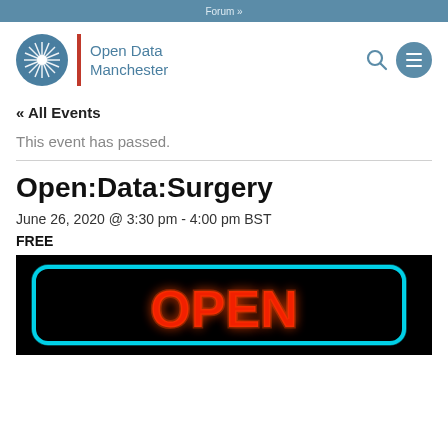Forum »
[Figure (logo): Open Data Manchester logo with blue circle, red vertical bar, and blue text]
« All Events
This event has passed.
Open:Data:Surgery
June 26, 2020 @ 3:30 pm - 4:00 pm BST
FREE
[Figure (photo): Neon sign showing the word OPEN in red neon letters with a cyan/blue neon border on a black background]